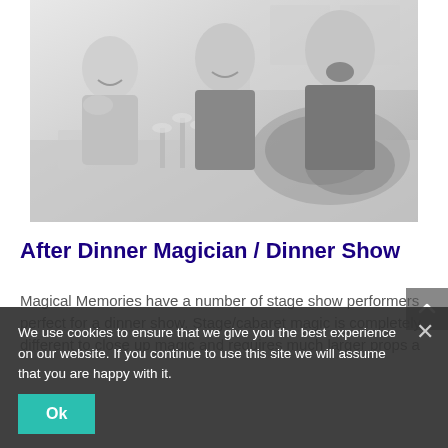[Figure (photo): Black and white photo of three people laughing at a dinner table, with wine glasses and floral centerpiece visible. Appears to be a wedding reception setting.]
After Dinner Magician / Dinner Show
Magical Memories have a number of stage show performers perfect for a dinner show. Stage/cabaret magic is completely different to close up magic and requires much larger props a
We use cookies to ensure that we give you the best experience on our website. If you continue to use this site we will assume that you are happy with it.